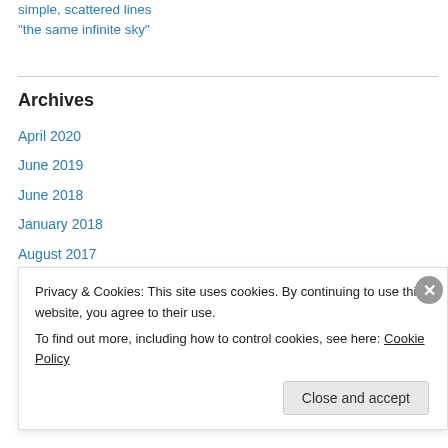simple, scattered lines
“the same infinite sky”
Archives
April 2020
June 2019
June 2018
January 2018
August 2017
October 2016
November 2015
December 2014
Privacy & Cookies: This site uses cookies. By continuing to use this website, you agree to their use.
To find out more, including how to control cookies, see here: Cookie Policy